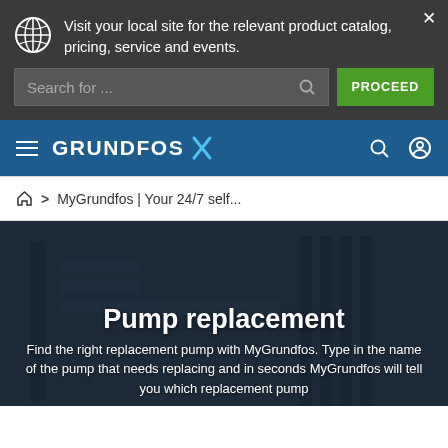Visit your local site for the relevant product catalog, pricing, service and events.
Search for ...
PROCEED
[Figure (logo): Grundfos logo with navigation hamburger menu, search and user icons on blue navigation bar]
MyGrundfos | Your 24/7 self...
Pump replacement
Find the right replacement pump with MyGrundfos. Type in the name of the pump that needs replacing and in seconds MyGrundfos will tell you which replacement pump